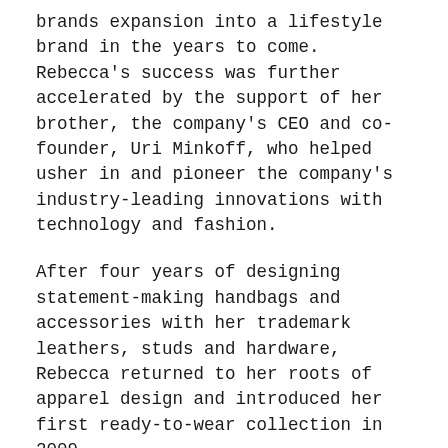brands expansion into a lifestyle brand in the years to come. Rebecca's success was further accelerated by the support of her brother, the company's CEO and co-founder, Uri Minkoff, who helped usher in and pioneer the company's industry-leading innovations with technology and fashion.
After four years of designing statement-making handbags and accessories with her trademark leathers, studs and hardware, Rebecca returned to her roots of apparel design and introduced her first ready-to-wear collection in 2009.
Today, Rebecca Minkoff is a global brand with a wide range of apparel, handbags, footwear, jewelry, timepieces, eyewear, and fragrance.
In the Summer of 2018, Rebecca launched a